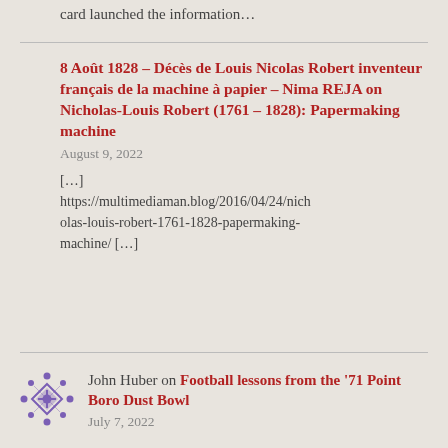card launched the information…
8 Août 1828 – Décès de Louis Nicolas Robert inventeur français de la machine à papier – Nima REJA on Nicholas-Louis Robert (1761 – 1828): Papermaking machine
August 9, 2022
[…] https://multimediaman.blog/2016/04/24/nicholas-louis-robert-1761-1828-papermaking-machine/ […]
[Figure (illustration): Purple decorative avatar icon with diamond/cross pattern for John Huber]
John Huber on Football lessons from the '71 Point Boro Dust Bowl
July 7, 2022